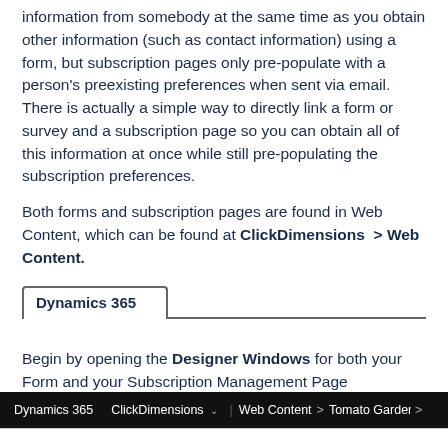information from somebody at the same time as you obtain other information (such as contact information) using a form, but subscription pages only pre-populate with a person's preexisting preferences when sent via email. There is actually a simple way to directly link a form or survey and a subscription page so you can obtain all of this information at once while still pre-populating the subscription preferences.
Both forms and subscription pages are found in Web Content, which can be found at ClickDimensions > Web Content.
Dynamics 365
Begin by opening the Designer Windows for both your Form and your Subscription Management Page
[Figure (screenshot): Navigation bar showing: Dynamics 365 | ClickDimensions (dropdown) | Web Content > Tomato Gardens - C... >]